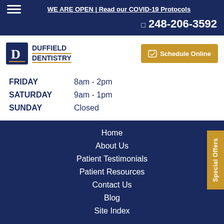WE ARE OPEN | Read our COVID-19 Protocols
248-206-3592
[Figure (logo): Duffield Dentistry logo with D icon and text]
FRIDAY  8am - 2pm
SATURDAY  9am - 1pm
SUNDAY  Closed
Home
About Us
Patient Testimonials
Patient Resources
Contact Us
Blog
Site Index
© 2022 Duffield Dentistry | All Rights Reserved | Privacy & ADA Accessibility Guide | Sitemap